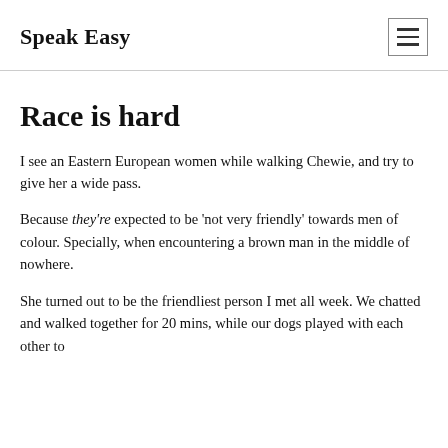Speak Easy
Race is hard
I see an Eastern European women while walking Chewie, and try to give her a wide pass.
Because they're expected to be ‘not very friendly’ towards men of colour. Specially, when encountering a brown man in the middle of nowhere.
She turned out to be the friendliest person I met all week. We chatted and walked together for 20 mins, while our dogs played with each other to